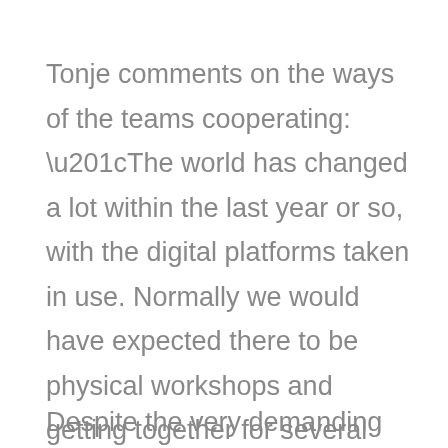Tonje comments on the ways of the teams cooperating: “The world has changed a lot within the last year or so, with the digital platforms taken in use. Normally we would have expected there to be physical workshops and getting together for several days, but it has worked nicely in having meetings in Teams and people continuing discussions and sharing documents remotely in between.”
Despite the very demanding project and